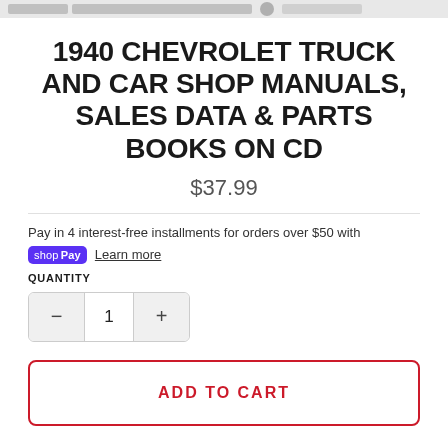1940 CHEVROLET TRUCK AND CAR SHOP MANUALS, SALES DATA & PARTS BOOKS ON CD
$37.99
Pay in 4 interest-free installments for orders over $50 with shop Pay Learn more
QUANTITY
1
ADD TO CART